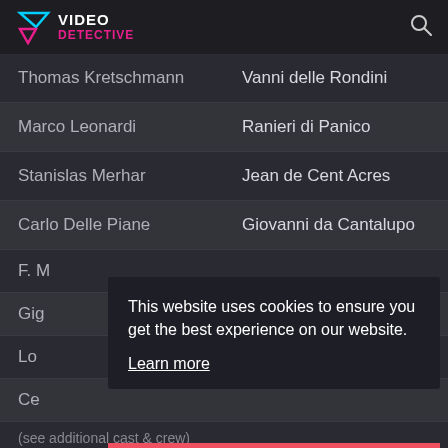VIDEO DETECTIVE
| Actor | Role |
| --- | --- |
| Thomas Kretschmann | Vanni delle Rondini |
| Marco Leonardi | Ranieri di Panico |
| Stanislas Merhar | Jean de Cent Acres |
| Carlo Delle Piane | Giovanni da Cantalupo |
| F. M |  |
| Gig |  |
| Lo |  |
| Ce |  |
This website uses cookies to ensure you get the best experience on our website.
Learn more
Got it!
(see additional cast & crew)